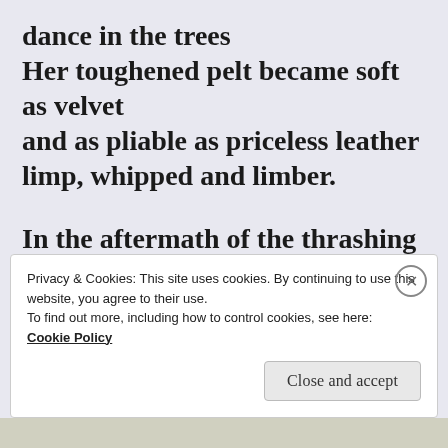dance in the trees
Her toughened pelt became soft as velvet
and as pliable as priceless leather
limp, whipped and limber.

In the aftermath of the thrashing torrent
tears kept her hardness soft
[partial line cut off]
Privacy & Cookies: This site uses cookies. By continuing to use this website, you agree to their use.
To find out more, including how to control cookies, see here:
Cookie Policy
Close and accept